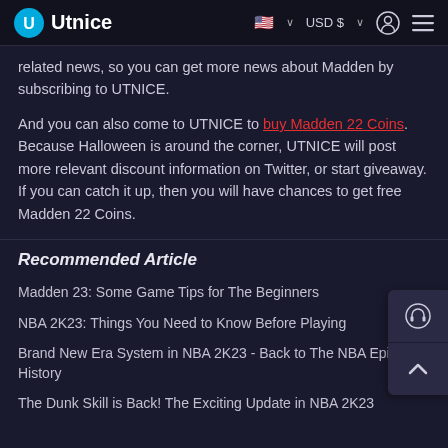Utnice  🇺🇸 ∨  USD $ ∨  👤  ≡
related news, so you can get more news about Madden by subscribing to UTNICE.
And you can also come to UTNICE to buy Madden 22 Coins. Because Halloween is around the corner, UTNICE will post more relevant discount information on Twitter, or start giveaway. If you can catch it up, then you will have chances to get free Madden 22 Coins.
Recommended Article
Madden 23: Some Game Tips for The Beginners
NBA 2K23: Things You Need to Know Before Playing
Brand New Era System in NBA 2K23 - Back to The NBA Epic History
The Dunk Skill is Back! The Exciting Update in NBA 2K23